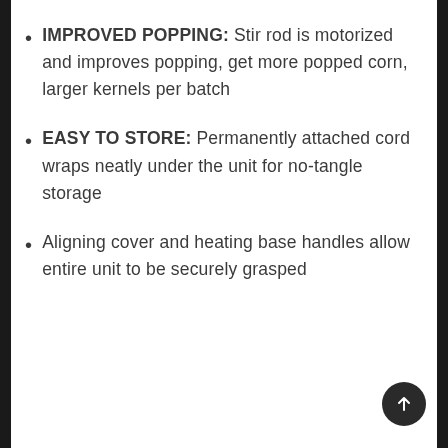IMPROVED POPPING: Stir rod is motorized and improves popping, get more popped corn, larger kernels per batch
EASY TO STORE: Permanently attached cord wraps neatly under the unit for no-tangle storage
Aligning cover and heating base handles allow entire unit to be securely grasped